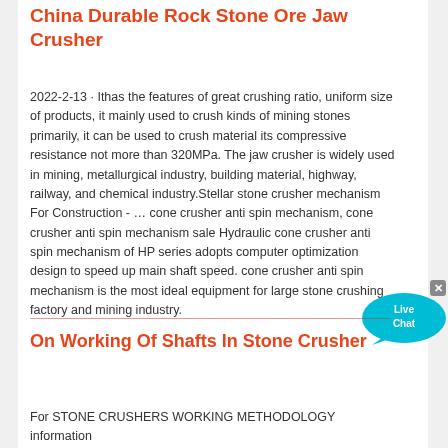China Durable Rock Stone Ore Jaw Crusher
2022-2-13 · Ithas the features of great crushing ratio, uniform size of products, it mainly used to crush kinds of mining stones primarily, it can be used to crush material its compressive resistance not more than 320MPa. The jaw crusher is widely used in mining, metallurgical industry, building material, highway, railway, and chemical industry.Stellar stone crusher mechanism For Construction - … cone crusher anti spin mechanism, cone crusher anti spin mechanism sale Hydraulic cone crusher anti spin mechanism of HP series adopts computer optimization design to speed up main shaft speed. cone crusher anti spin mechanism is the most ideal equipment for large stone crushing factory and mining industry.
[Figure (other): Live Chat speech bubble widget in cyan/teal color with white text 'Live Chat' and a close X button]
On Working Of Shafts In Stone Crusher
For STONE CRUSHERS WORKING METHODOLOGY information